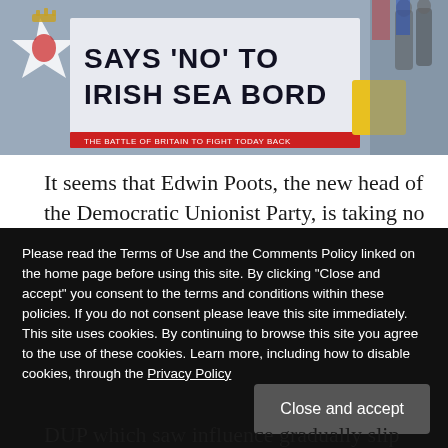[Figure (photo): A protest banner reading 'SAYS NO TO IRISH SEA BORD' with a Northern Ireland flag star logo on the left, a yellow sign and people visible on the right side.]
It seems that Edwin Poots, the new head of the Democratic Unionist Party, is taking no prisoners in his contest with the demoralised followers of the former leader Arlene Foster and her would-be successor Jeffrey Donaldson. The Lagan Valley
Please read the Terms of Use and the Comments Policy linked on the home page before using this site. By clicking "Close and accept" you consent to the terms and conditions within these policies. If you do not consent please leave this site immediately. This site uses cookies. By continuing to browse this site you agree to the use of these cookies. Learn more, including how to disable cookies, through the Privacy Policy
DUP which saw influence gradually slip from its